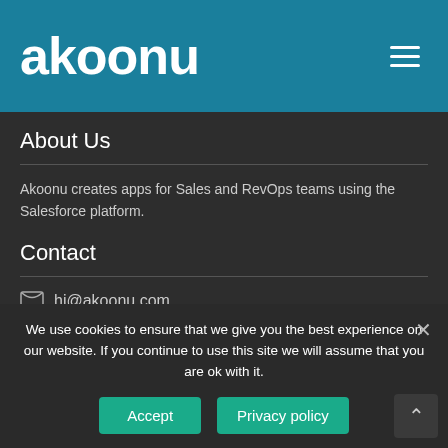akoonu
About Us
Akoonu creates apps for Sales and RevOps teams using the Salesforce platform.
Contact
hi@akoonu.com
We use cookies to ensure that we give you the best experience on our website. If you continue to use this site we will assume that you are ok with it.
Accept | Privacy policy